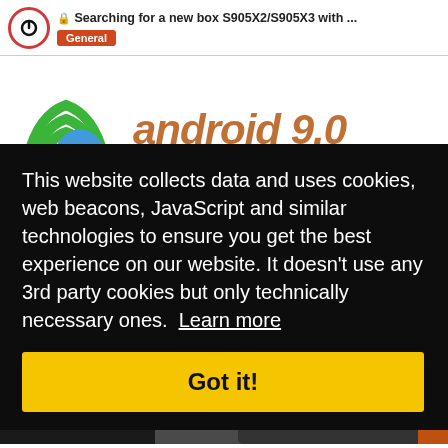🔒 Searching for a new box S905X2/S905X3 with ... General
[Figure (screenshot): WiFi dual band icon (5G green, 2.4G blue) on left; 'android 9.0' text in orange/blue italic on right; background shows stacked Android TV boxes]
This website collects data and uses cookies, web beacons, JavaScript and similar technologies to ensure you get the best experience on our website. It doesn't use any 3rd party cookies but only technically necessary ones.  Learn more
Got it!